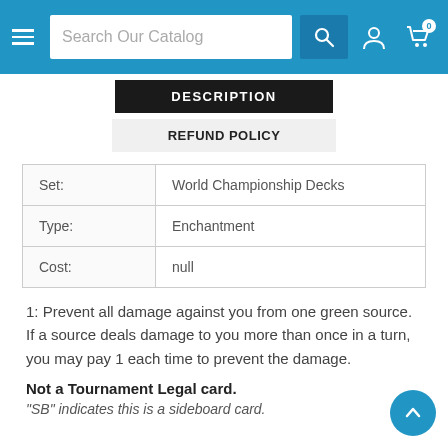Search Our Catalog
DESCRIPTION
REFUND POLICY
| Set: | World Championship Decks |
| Type: | Enchantment |
| Cost: | null |
1: Prevent all damage against you from one green source. If a source deals damage to you more than once in a turn, you may pay 1 each time to prevent the damage.
Not a Tournament Legal card.
"SB" indicates this is a sideboard card.